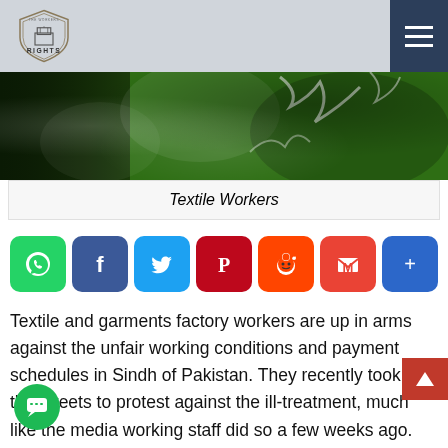[Figure (logo): The Workers Rights shield logo with text RIGHTS below]
[Figure (photo): Green textile fabric close-up photo used as banner image]
Textile Workers
[Figure (infographic): Social sharing icons row: WhatsApp, Facebook, Twitter, Pinterest, Reddit, Gmail, Share+]
Textile and garments factory workers are up in arms against the unfair working conditions and payment schedules in Sindh of Pakistan. They recently took to the streets to protest against the ill-treatment, much like the media working staff did so a few weeks ago.